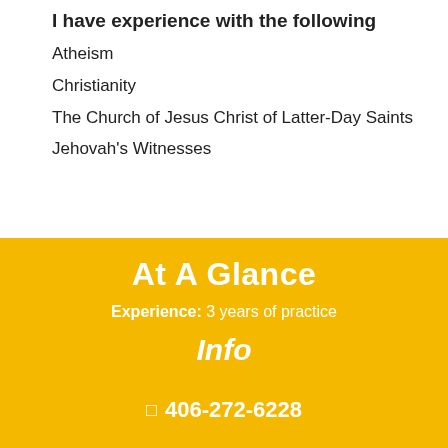I have experience with the following
Atheism
Christianity
The Church of Jesus Christ of Latter-Day Saints
Jehovah's Witnesses
At A Glance
Experience: 3 years of practice
Info
406-272-6228